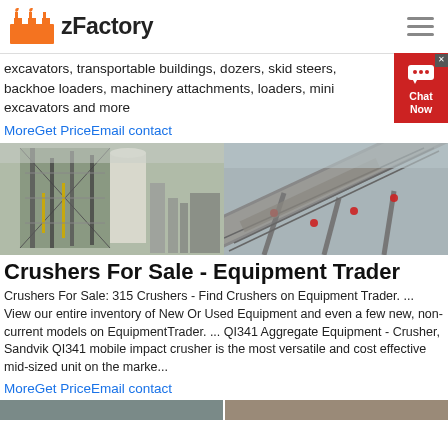zFactory
excavators, transportable buildings, dozers, skid steers, backhoe loaders, machinery attachments, loaders, mini excavators and more
MoreGet PriceEmail contact
[Figure (photo): Two photos side by side: left shows an industrial processing plant with scaffolding and silos; right shows a conveyor belt system at a quarry/mining operation]
Crushers For Sale - Equipment Trader
Crushers For Sale: 315 Crushers - Find Crushers on Equipment Trader. ... View our entire inventory of New Or Used Equipment and even a few new, non-current models on EquipmentTrader. ... QI341 Aggregate Equipment - Crusher, Sandvik QI341 mobile impact crusher is the most versatile and cost effective mid-sized unit on the marke...
MoreGet PriceEmail contact